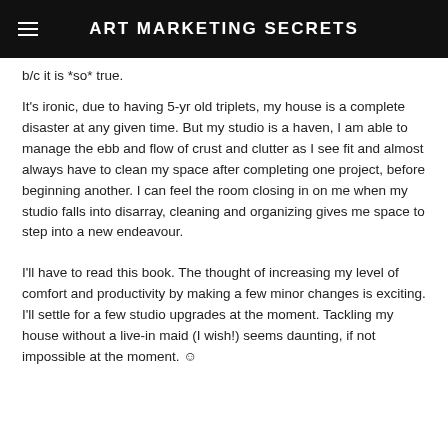ART MARKETING SECRETS
b/c it is *so* true.
It's ironic, due to having 5-yr old triplets, my house is a complete disaster at any given time. But my studio is a haven, I am able to manage the ebb and flow of crust and clutter as I see fit and almost always have to clean my space after completing one project, before beginning another. I can feel the room closing in on me when my studio falls into disarray, cleaning and organizing gives me space to step into a new endeavour.
I'll have to read this book. The thought of increasing my level of comfort and productivity by making a few minor changes is exciting. I'll settle for a few studio upgrades at the moment. Tackling my house without a live-in maid (I wish!) seems daunting, if not impossible at the moment. ☺